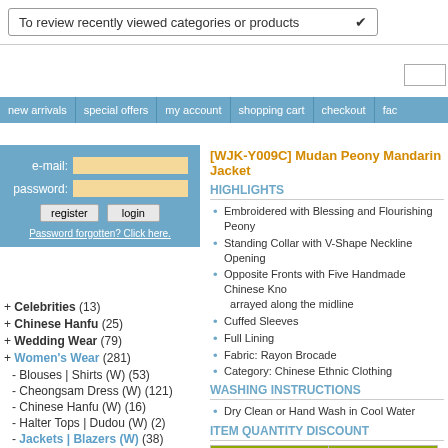To review recently viewed categories or products
[Figure (screenshot): Navigation bar with links: new arrivals, special offers, my account, shopping cart, checkout, fac...]
[Figure (screenshot): Login box with e-mail and password fields, register and login buttons, and forgot password link]
+ Celebrities (13)
+ Chinese Hanfu (25)
+ Wedding Wear (79)
+ Women's Wear (281)
- Blouses | Shirts (W) (53)
- Cheongsam Dress (W) (121)
- Chinese Hanfu (W) (16)
- Halter Tops | Dudou (W) (2)
- Jackets | Blazers (W) (38)
- Skirts (W) (3)
- Suits (W) (18)
[WJK-Y009C] Mudan Peony Mandarin Jacket
HIGHLIGHTS
Embroidered with Blessing and Flourishing Peony
Standing Collar with V-Shape Neckline Opening
Opposite Fronts with Five Handmade Chinese Kno... arrayed along the midline
Cuffed Sleeves
Full Lining
Fabric: Rayon Brocade
Category: Chinese Ethnic Clothing
WASHING INSTRUCTIONS
Dry Clean or Hand Wash in Cool Water
ITEM QUANTITY DISCOUNT
| QUANTITY | DISCOUNT |
| --- | --- |
| 10+ | 10% |
| 50+ | 15% |